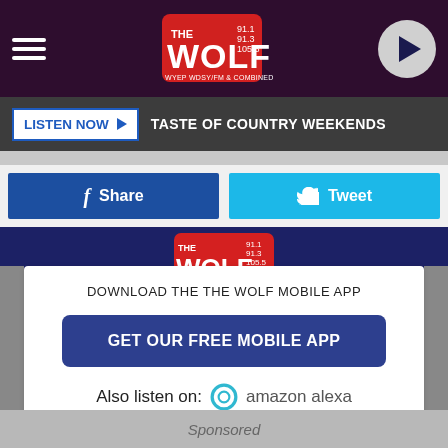[Figure (screenshot): The Wolf radio station header with hamburger menu, The Wolf logo badge, and play button]
LISTEN NOW ▶  TASTE OF COUNTRY WEEKENDS
[Figure (infographic): Facebook Share button and Twitter Tweet button social sharing row]
[Figure (infographic): Dark blue banner with partial red Wolf logo badge visible]
DOWNLOAD THE THE WOLF MOBILE APP
GET OUR FREE MOBILE APP
Also listen on:  amazon alexa
Sponsored